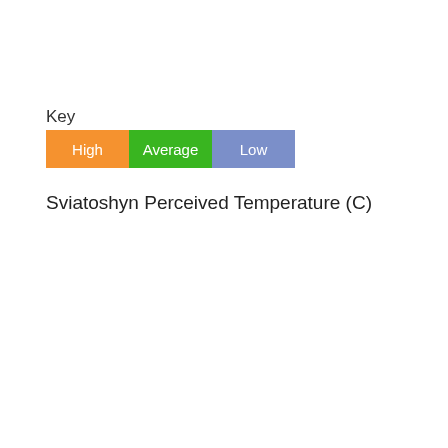Key
[Figure (infographic): Legend showing three colored boxes labeled High (orange), Average (green), and Low (blue/purple)]
Sviatoshyn Perceived Temperature (C)